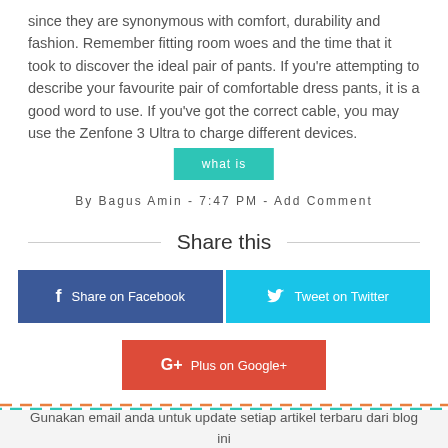since they are synonymous with comfort, durability and fashion. Remember fitting room woes and the time that it took to discover the ideal pair of pants. If you're attempting to describe your favourite pair of comfortable dress pants, it is a good word to use. If you've got the correct cable, you may use the Zenfone 3 Ultra to charge different devices.
what is
By Bagus Amin - 7:47 PM - Add Comment
Share this
Share on Facebook
Tweet on Twitter
Plus on Google+
Gunakan email anda untuk update setiap artikel terbaru dari blog ini